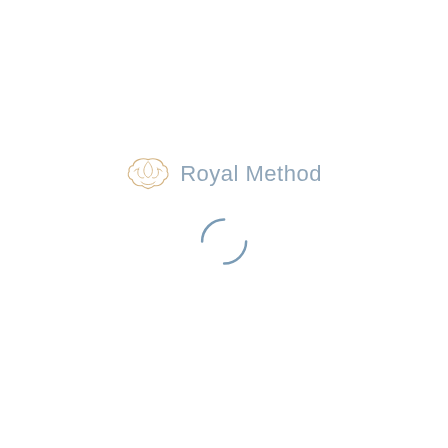[Figure (logo): Royal Method logo: a golden/tan stylized brain icon on the left, followed by the text 'Royal Method' in light steel-blue thin font. Below the logo is a loading spinner arc in steel blue (two short curved arcs forming a partial circle, suggesting a loading indicator).]